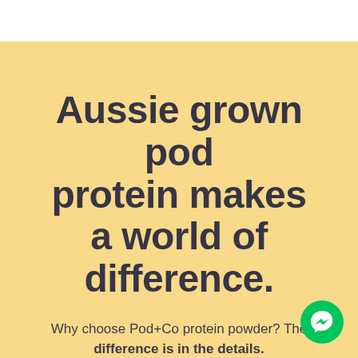Aussie grown pod protein makes a world of difference.
Why choose Pod+Co protein powder? The difference is in the details.
[Figure (logo): Green circular Facebook Messenger icon button in bottom-right corner]